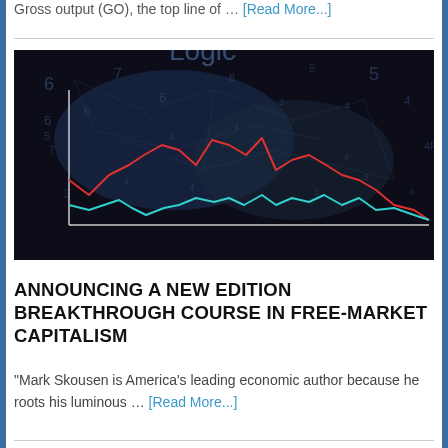Gross output (GO), the top line of … [Read More...]
[Figure (photo): Dark background image with glowing network lines and numbers, overlaid with two line charts (red and teal/cyan) showing financial or economic data trends]
ANNOUNCING A NEW EDITION BREAKTHROUGH COURSE IN FREE-MARKET CAPITALISM
“Mark Skousen is America’s leading economic author because he roots his luminous … [Read More...]